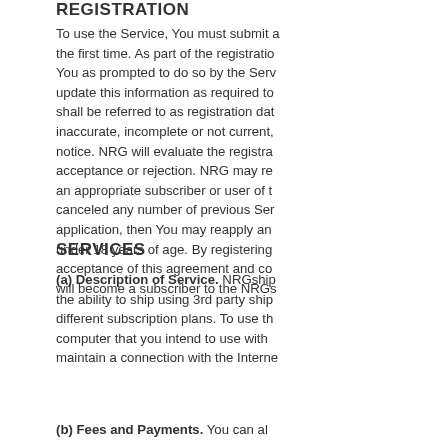REGISTRATION
To use the Service, You must submit a registration the first time. As part of the registration, You as prompted to do so by the Serv update this information as required to shall be referred to as registration dat inaccurate, incomplete or not current, notice. NRG will evaluate the registra acceptance or rejection. NRG may re an appropriate subscriber or user of t canceled any number of previous Ser application, then You may reapply an under 18 years of age. By registering acceptance of this agreement and co will become a subscriber to the NRGs
SERVICES
(a) Description of Service. NRGship the ability to ship using 3rd party ship different subscription plans. To use th computer that you intend to use with maintain a connection with the Interne
(b) Fees and Payments. You can al